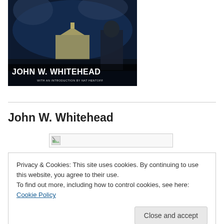[Figure (photo): Book cover image featuring a dark scene with the US Capitol building, a crowd, and a riot-gear figure. Text reads 'JOHN W. WHITEHEAD' and 'WITH AN INTRODUCTION BY NAT HENTOFF'.]
John W. Whitehead
[Figure (photo): Broken/missing image placeholder (wide rectangle with broken image icon).]
Privacy & Cookies: This site uses cookies. By continuing to use this website, you agree to their use.
To find out more, including how to control cookies, see here: Cookie Policy
Close and accept